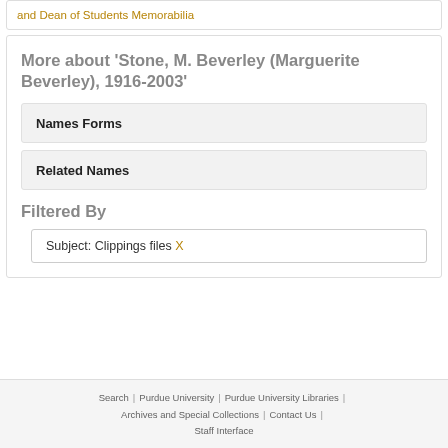and Dean of Students Memorabilia
More about 'Stone, M. Beverley (Marguerite Beverley), 1916-2003'
Names Forms
Related Names
Filtered By
Subject: Clippings files X
Search | Purdue University | Purdue University Libraries | Archives and Special Collections | Contact Us | Staff Interface